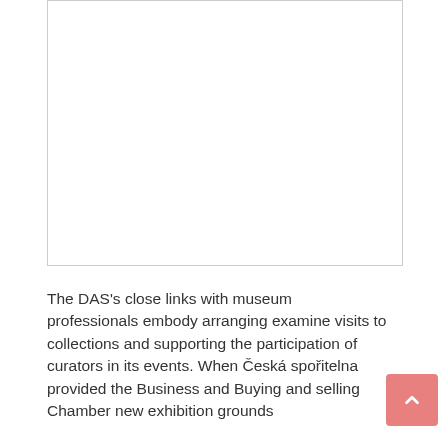[Figure (photo): Large white/empty image placeholder at the top of the page]
The DAS's close links with museum professionals embody arranging examine visits to collections and supporting the participation of curators in its events. When Česká spořitelna provided the Business and Buying and selling Chamber new exhibition grounds